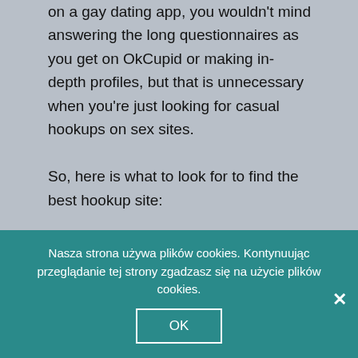on a gay dating app, you wouldn't mind answering the long questionnaires as you get on OkCupid or making in-depth profiles, but that is unnecessary when you're just looking for casual hookups on sex sites.

So, here is what to look for to find the best hookup site:

1. Adam4Adam2. Ashley Madison3. Gay FriendFinder4. Grindr5. Scruff6. Adam4Adam7. Gay Cupid8. Blued9. Gaydar10. Bros4Bros11. Gays12. ManPlay13. Hornet14. Taimi15. All
Nasza strona używa plików cookies. Kontynuując przeglądanie tej strony zgadzasz się na użycie plików cookies.
OK